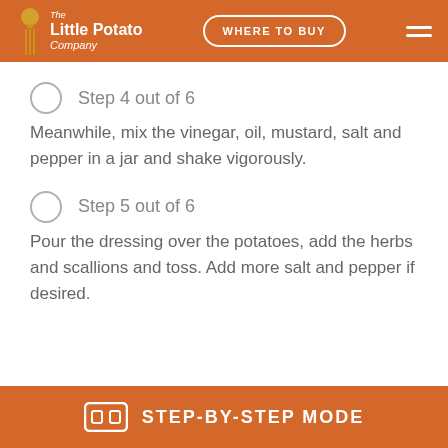The Little Potato Company — WHERE TO BUY
Step 4 out of 6
Meanwhile, mix the vinegar, oil, mustard, salt and pepper in a jar and shake vigorously.
Step 5 out of 6
Pour the dressing over the potatoes, add the herbs and scallions and toss. Add more salt and pepper if desired.
STEP-BY-STEP MODE